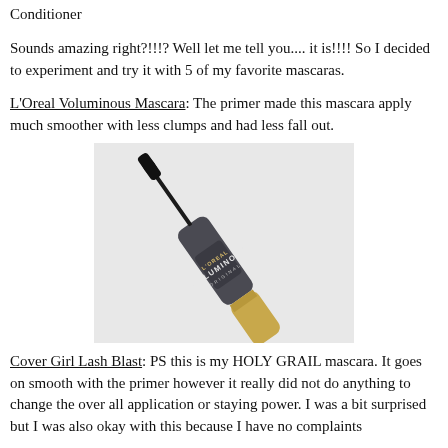Conditioner
Sounds amazing right?!!!? Well let me tell you.... it is!!!! So I decided to experiment and try it with 5 of my favorite mascaras.
L'Oreal Voluminous Mascara: The primer made this mascara apply much smoother with less clumps and had less fall out.
[Figure (photo): L'Oreal Voluminous Original mascara tube with wand extended, dark grey tube with gold cap, on a light grey background.]
Cover Girl Lash Blast: PS this is my HOLY GRAIL mascara. It goes on smooth with the primer however it really did not do anything to change the over all application or staying power. I was a bit surprised but I was also okay with this because I have no complaints